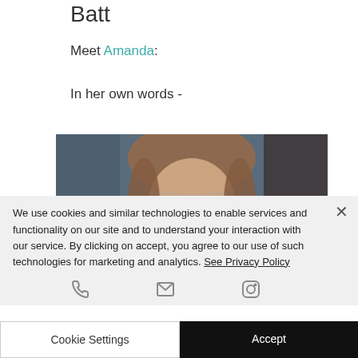Batt
Meet Amanda:
In her own words -
[Figure (photo): Blurred portrait photo of a woman with brown hair against a dark blue background]
We use cookies and similar technologies to enable services and functionality on our site and to understand your interaction with our service. By clicking on accept, you agree to our use of such technologies for marketing and analytics. See Privacy Policy
Cookie Settings    Accept